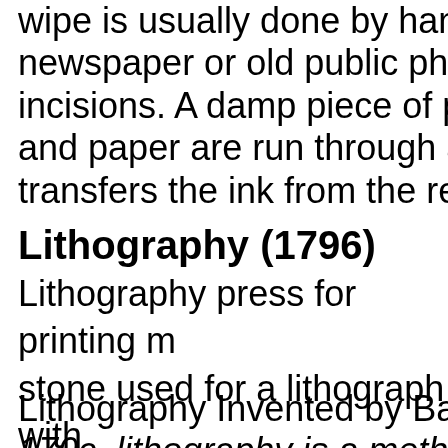wipe is usually done by hand, s newspaper or old public phone incisions. A damp piece of pape and paper are run through a pr transfers the ink from the reces
Lithography (1796)
Lithography press for printing m stone used for a lithograph with (Collection: Princeton Universit
Lithography Invented by Bavari 170c. lithography is a method f